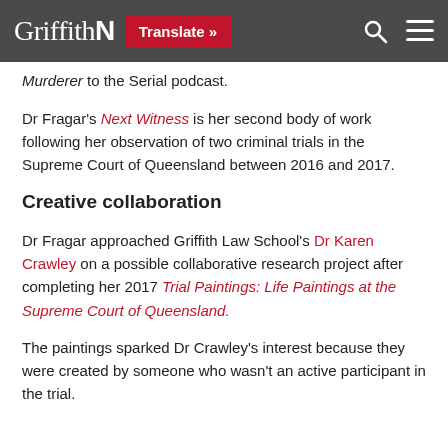Griffith N  Translate »
Murderer to the Serial podcast.
Dr Fragar's Next Witness is her second body of work following her observation of two criminal trials in the Supreme Court of Queensland between 2016 and 2017.
Creative collaboration
Dr Fragar approached Griffith Law School's Dr Karen Crawley on a possible collaborative research project after completing her 2017 Trial Paintings: Life Paintings at the Supreme Court of Queensland.
The paintings sparked Dr Crawley's interest because they were created by someone who wasn't an active participant in the trial.